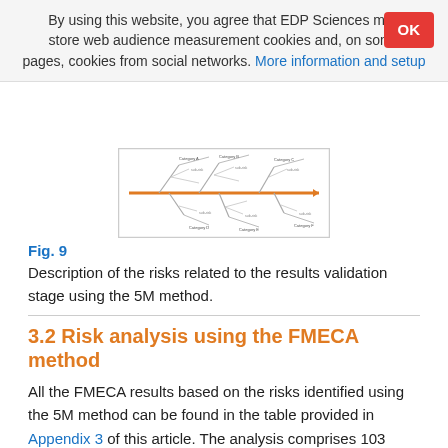By using this website, you agree that EDP Sciences may store web audience measurement cookies and, on some pages, cookies from social networks. More information and setup
[Figure (schematic): Fishbone/Ishikawa diagram showing risks related to the results validation stage using the 5M method. Features an orange horizontal spine with diagonal branches labeled with risk categories and sub-causes in small text.]
Fig. 9
Description of the risks related to the results validation stage using the 5M method.
3.2 Risk analysis using the FMECA method
All the FMECA results based on the risks identified using the 5M method can be found in the table provided in Appendix 3 of this article. The analysis comprises 103 risks spread across